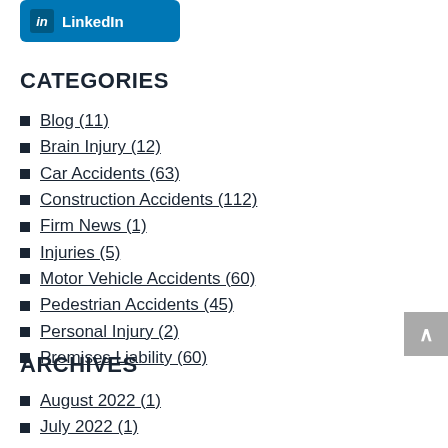[Figure (other): LinkedIn share button with blue background and 'in' icon]
CATEGORIES
Blog (11)
Brain Injury (12)
Car Accidents (63)
Construction Accidents (112)
Firm News (1)
Injuries (5)
Motor Vehicle Accidents (60)
Pedestrian Accidents (45)
Personal Injury (2)
Premises Liability (60)
ARCHIVES
August 2022 (1)
July 2022 (1)